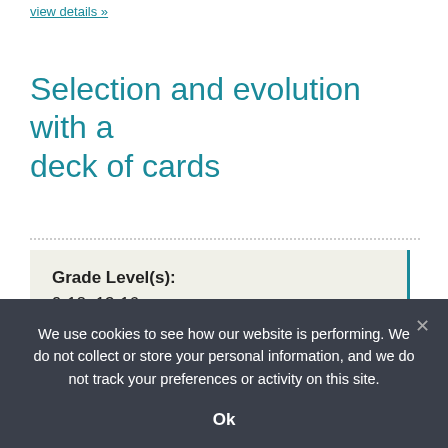view details »
Selection and evolution with a deck of cards
Grade Level(s):
9-12, 13-16

Source:
We use cookies to see how our website is performing. We do not collect or store your personal information, and we do not track your preferences or activity on this site.

Ok